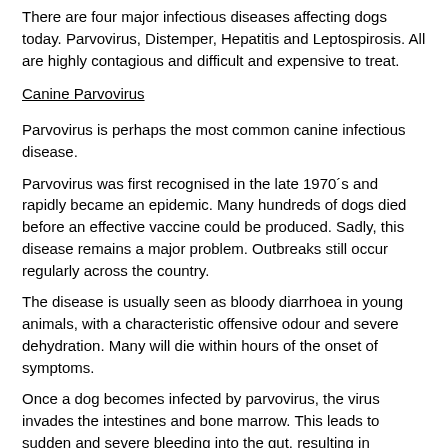There are four major infectious diseases affecting dogs today. Parvovirus, Distemper, Hepatitis and Leptospirosis. All are highly contagious and difficult and expensive to treat.
Canine Parvovirus
Parvovirus is perhaps the most common canine infectious disease.
Parvovirus was first recognised in the late 1970´s and rapidly became an epidemic. Many hundreds of dogs died before an effective vaccine could be produced. Sadly, this disease remains a major problem. Outbreaks still occur regularly across the country.
The disease is usually seen as bloody diarrhoea in young animals, with a characteristic offensive odour and severe dehydration. Many will die within hours of the onset of symptoms.
Once a dog becomes infected by parvovirus, the virus invades the intestines and bone marrow. This leads to sudden and severe bleeding into the gut, resulting in dehydration and shock and damage to the immune system. Death is common and frequently rapid unless emergency veterinary treatment is received.
Canine Distemper